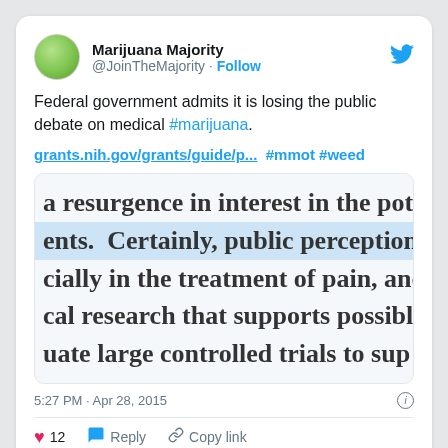Marijuana Majority @JoinTheMajority · Follow
Federal government admits it is losing the public debate on medical #marijuana.

grants.nih.gov/grants/guide/p... #mmot #weed
[Figure (screenshot): Zoomed-in screenshot of a document with highlighted text reading: 'a resurgence in interest in the pot ents.  Certainly, public perception cially in the treatment of pain, and cal research that supports possibl uate large controlled trials to sup']
5:27 PM · Apr 28, 2015
12  Reply  Copy link
Read 1 reply